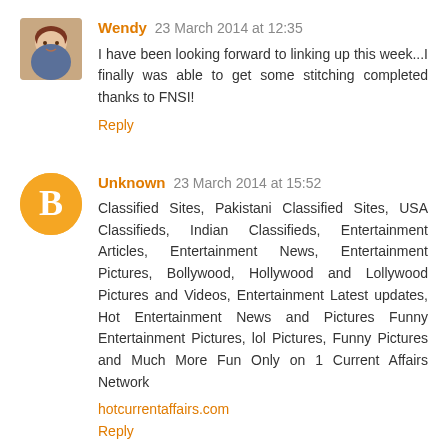Wendy  23 March 2014 at 12:35
I have been looking forward to linking up this week...I finally was able to get some stitching completed thanks to FNSI!
Reply
Unknown  23 March 2014 at 15:52
Classified Sites, Pakistani Classified Sites, USA Classifieds, Indian Classifieds, Entertainment Articles, Entertainment News, Entertainment Pictures, Bollywood, Hollywood and Lollywood Pictures and Videos, Entertainment Latest updates, Hot Entertainment News and Pictures Funny Entertainment Pictures, lol Pictures, Funny Pictures and Much More Fun Only on 1 Current Affairs Network
hotcurrentaffairs.com
Reply